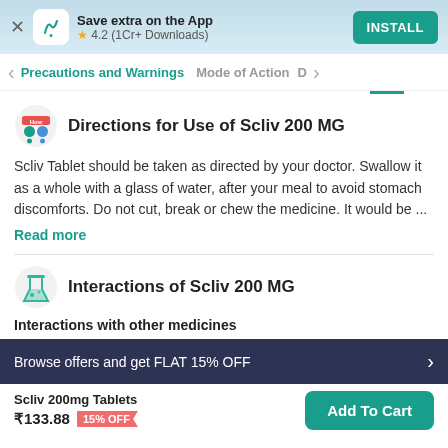Save extra on the App | ★ 4.2 (1Cr+ Downloads) | INSTALL
Precautions and Warnings   Mode of Action
Directions for Use of Scliv 200 MG
Scliv Tablet should be taken as directed by your doctor. Swallow it as a whole with a glass of water, after your meal to avoid stomach discomforts. Do not cut, break or chew the medicine. It would be ...
Read more
Interactions of Scliv 200 MG
Interactions with other medicines
Browse offers and get FLAT 15% OFF
Scliv 200mg Tablets
₹133.88  15% OFF
Add To Cart